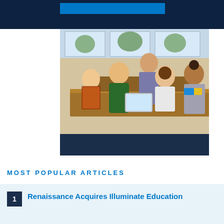[Figure (photo): Classroom photo showing students gathered around a desk with a tablet, with a teacher smiling. Spectrum Enterprise logo appears in dark navy overlay at bottom right.]
MOST POPULAR ARTICLES
1 Renaissance Acquires Illuminate Education